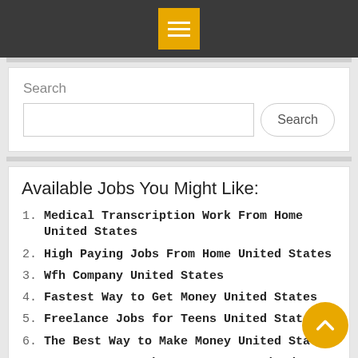Menu icon (hamburger)
Search
Available Jobs You Might Like:
Medical Transcription Work From Home United States
High Paying Jobs From Home United States
Wfh Company United States
Fastest Way to Get Money United States
Freelance Jobs for Teens United States
The Best Way to Make Money United States
Easy Ways to Make Money Fast United States
Home Accessible Jobs United States (partial)